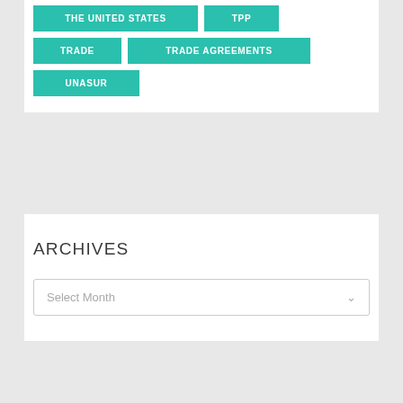THE UNITED STATES
TPP
TRADE
TRADE AGREEMENTS
UNASUR
ARCHIVES
Select Month